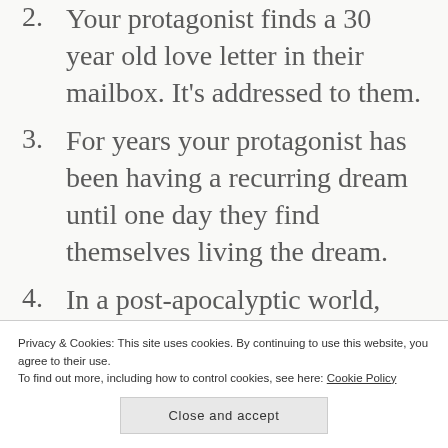2. Your protagonist finds a 30 year old love letter in their mailbox. It's addressed to them.
3. For years your protagonist has been having a recurring dream until one day they find themselves living the dream.
4. In a post-apocalyptic world, your protagonist is out hunting. They shoot at what they believe to be a deer. Instead, it is a person — "The world may have ended, but cannibalism is still frowned upon."
Privacy & Cookies: This site uses cookies. By continuing to use this website, you agree to their use. To find out more, including how to control cookies, see here: Cookie Policy
Close and accept